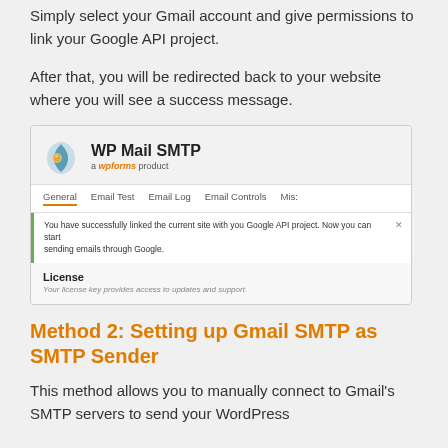Simply select your Gmail account and give permissions to link your Google API project.
After that, you will be redirected back to your website where you will see a success message.
[Figure (screenshot): Screenshot of WP Mail SMTP plugin interface showing a success message: 'You have successfully linked the current site with you Google API project. Now you can start sending emails through Google.' Navigation tabs include General, Email Test, Email Log, Email Controls, Misc. Below is a License section with text 'Your license key provides access to updates and support.']
Method 2: Setting up Gmail SMTP as SMTP Sender
This method allows you to manually connect to Gmail's SMTP servers to send your WordPress